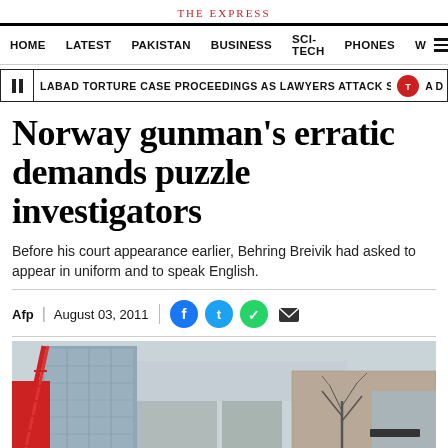THE EXPRESS
HOME  LATEST  PAKISTAN  BUSINESS  SCI-TECH  PHONES  W
LABAD TORTURE CASE PROCEEDINGS AS LAWYERS ATTACK SHEIKH DANISH  A D
Norway gunman's erratic demands puzzle investigators
Before his court appearance earlier, Behring Breivik had asked to appear in uniform and to speak English.
Afp  |  August 03, 2011
[Figure (photo): Street view of city buildings with a fire truck ladder visible on the left side; a damaged or bare-branched building visible on the right side of the image.]